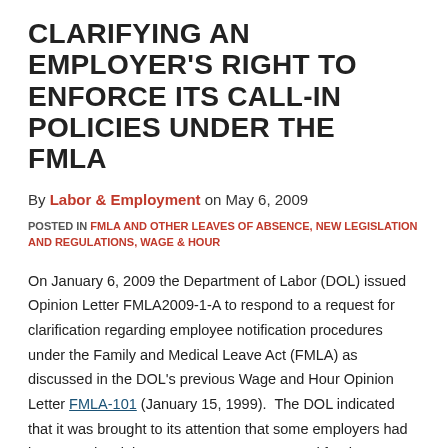CLARIFYING AN EMPLOYER'S RIGHT TO ENFORCE ITS CALL-IN POLICIES UNDER THE FMLA
By Labor & Employment on May 6, 2009
POSTED IN FMLA AND OTHER LEAVES OF ABSENCE, NEW LEGISLATION AND REGULATIONS, WAGE & HOUR
On January 6, 2009 the Department of Labor (DOL) issued Opinion Letter FMLA2009-1-A to respond to a request for clarification regarding employee notification procedures under the Family and Medical Leave Act (FMLA) as discussed in the DOL's previous Wage and Hour Opinion Letter FMLA-101 (January 15, 1999). The DOL indicated that it was brought to its attention that some employers had interpreted Opinion Letter FMLA-101 to stand for the proposition that under the FMLA, employers were not permitted to apply their internal call-in policies or discipline employees under their no call/no